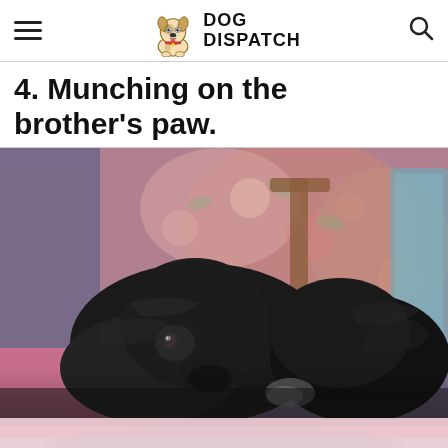DOG DISPATCH
4. Munching on the brother's paw.
[Figure (photo): Two black dogs lying together on a colorful floral-patterned cushion/blanket, looking toward the camera. One dog appears to be mouthing or resting near the other's paw. Pink and teal bedding visible in background.]
[Figure (photo): Partial bottom of same photo showing blurred pink/light colored surface, continuation of the dog photo above.]